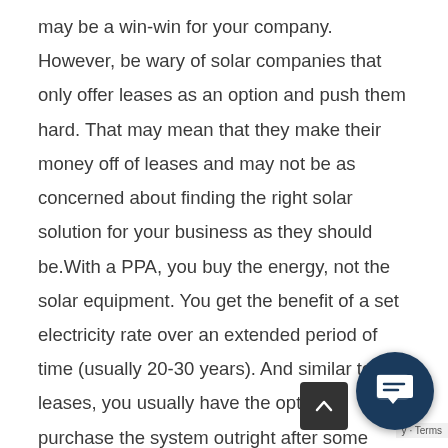may be a win-win for your company. However, be wary of solar companies that only offer leases as an option and push them hard. That may mean that they make their money off of leases and may not be as concerned about finding the right solar solution for your business as they should be.With a PPA, you buy the energy, not the solar equipment. You get the benefit of a set electricity rate over an extended period of time (usually 20-30 years). And similar to leases, you usually have the option to purchase the system outright after some period of time has passed, or you can negotiate a new agreement when your term is over. Again, if little or no capital to put down on the purchase of